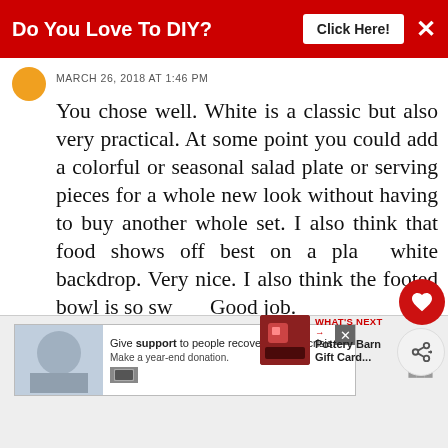[Figure (screenshot): Red advertisement banner at top reading 'Do You Love To DIY?' with 'Click Here!' button and X close button]
MARCH 26, 2018 AT 1:46 PM
You chose well. White is a classic but also very practical. At some point you could add a colorful or seasonal salad plate or serving pieces for a whole new look without having to buy another whole set. I also think that food shows off best on a plain white backdrop. Very nice. I also think the footed bowl is so sweet! Good job.
REPLY   DELETE
WHAT'S NEXT → Pottery Barn Gift Card...
[Figure (screenshot): Bottom advertisement: Give support to people recovering from crisis. Make a year-end donation.]